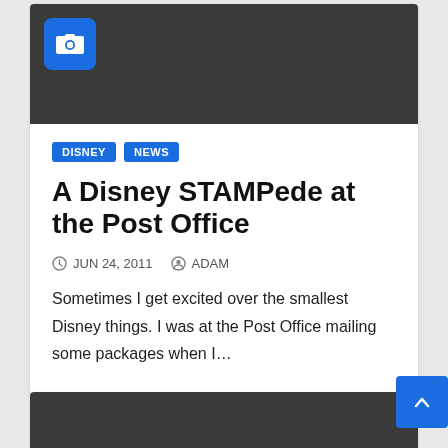[Figure (screenshot): Dark gray image placeholder with a blue camera icon in the top-left corner]
DISNEY  NEWS
A Disney STAMPede at the Post Office
JUN 24, 2011   ADAM
Sometimes I get excited over the smallest Disney things. I was at the Post Office mailing some packages when I…
[Figure (screenshot): Partial dark gray image placeholder at bottom of page]